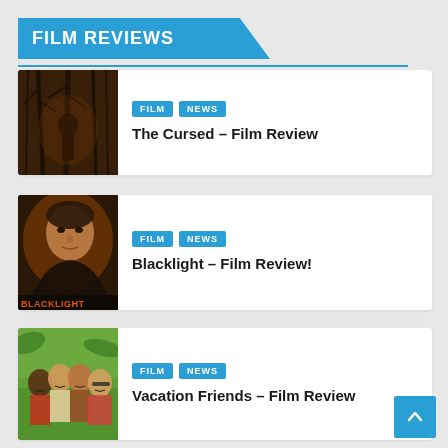FILM REVIEWS
[Figure (illustration): Dark horror scene with figure in forest, The Cursed film poster]
FILM  NEWS  The Cursed – Film Review
[Figure (illustration): Liam Neeson action portrait, Blacklight film poster]
FILM  NEWS  Blacklight – Film Review!
[Figure (illustration): Group of friends smiling outdoors, Vacation Friends film still]
FILM  NEWS  Vacation Friends – Film Review